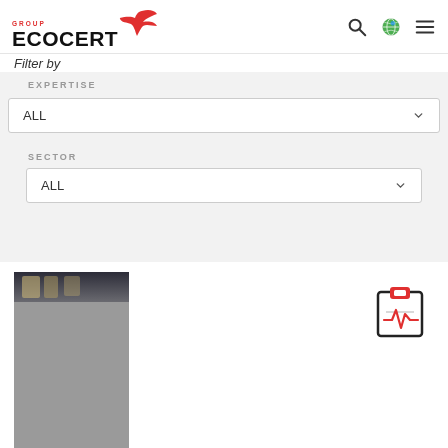ECOCERT GROUP - website header with search, globe, and menu icons
Filter by
EXPERTISE
ALL
SECTOR
ALL
[Figure (photo): Partial photo card showing a dark and gray image, partially visible on left side]
[Figure (illustration): Red clipboard icon with a heartbeat/pulse line, representing health or audit report]